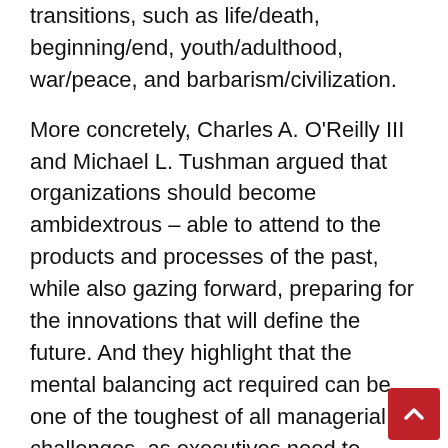transitions, such as life/death, beginning/end, youth/adulthood, war/peace, and barbarism/civilization.
More concretely, Charles A. O'Reilly III and Michael L. Tushman argued that organizations should become ambidextrous – able to attend to the products and processes of the past, while also gazing forward, preparing for the innovations that will define the future. And they highlight that the mental balancing act required can be one of the toughest of all managerial challenges, as executives need to explore new opportunities while they work diligently to exploit existing capabilities. (Source: https://hbr.org/2004/04/the-ambidextrous-organization)